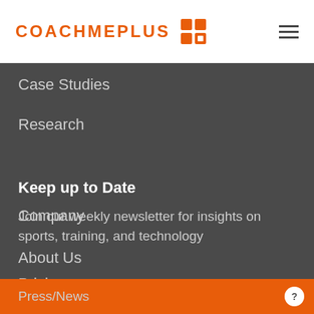[Figure (logo): CoachMePlus logo with orange text and orange grid icon]
Case Studies
Research
Keep up to Date
Join our weekly newsletter for insights on sports, training, and technology
Company
About Us
Pricing
Fields marked with an * are required
Press/News